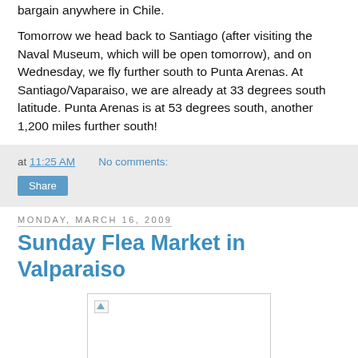bargain anywhere in Chile.
Tomorrow we head back to Santiago (after visiting the Naval Museum, which will be open tomorrow), and on Wednesday, we fly further south to Punta Arenas. At Santiago/Vaparaiso, we are already at 33 degrees south latitude. Punta Arenas is at 53 degrees south, another 1,200 miles further south!
at 11:25 AM   No comments:
Share
Monday, March 16, 2009
Sunday Flea Market in Valparaiso
[Figure (photo): Broken image placeholder for a photo related to the Sunday Flea Market in Valparaiso blog post]